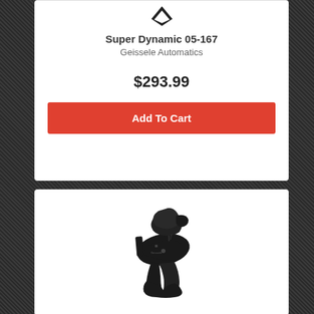Super Dynamic 05-167
Geissele Automatics
$293.99
Add To Cart
[Figure (photo): Black AR-style trigger group assembly with hammer, disconnector and springs, photographed on white background]